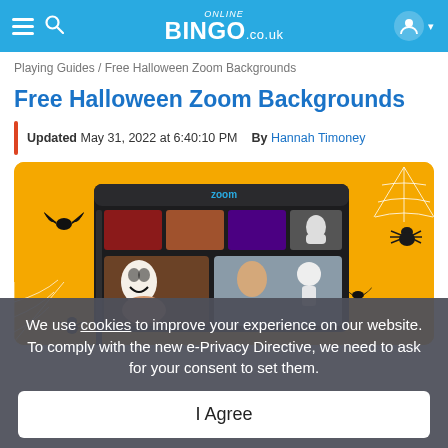Online BINGO.co.uk
Playing Guides / Free Halloween Zoom Backgrounds
Free Halloween Zoom Backgrounds
Updated May 31, 2022 at 6:40:10 PM   By Hannah Timoney
[Figure (screenshot): Halloween-themed Zoom virtual background illustration on orange background with bats, spider webs, and a spider. The Zoom window shows participants with Halloween costumes and backgrounds including Scream mask, skeleton.]
We use cookies to improve your experience on our website. To comply with the new e-Privacy Directive, we need to ask for your consent to set them.
I Agree
Virtual Bingo party for you and your friends. You want